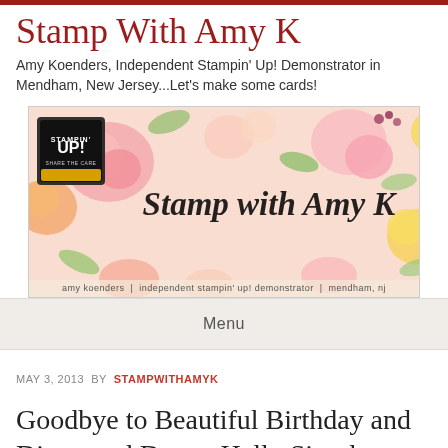Stamp With Amy K
Amy Koenders, Independent Stampin' Up! Demonstrator in Mendham, New Jersey...Let's make some cards!
[Figure (photo): Blog banner image with floral watercolor background and cursive script text reading 'Stamp with Amy K', with Stampin' Up! logo on the left. Footer text: amy koenders | independent stampin' up! demonstrator | mendham, nj]
Menu
MAY 3, 2013 BY STAMPWITHAMYK
Goodbye to Beautiful Birthday and Distressed Dots... Hello Simply Pressed